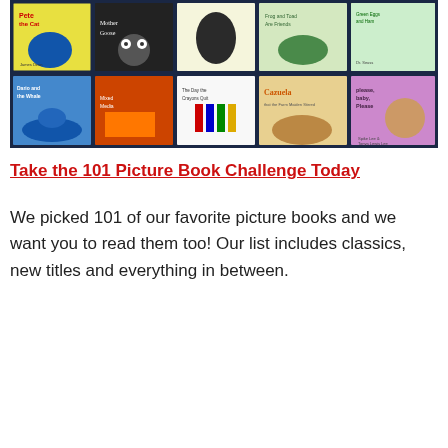[Figure (illustration): A collage grid of 10 colorful children's picture book covers including Pete the Cat, Mother Goose, Bruce, Frog and Toad Are Friends, Bark George, Green Eggs and Ham, Dario and the Whale, Mixed Media art book, The Day the Crayons Quit, Cazuela, and Please Baby Please, arranged in two rows against a dark navy border.]
Take the 101 Picture Book Challenge Today
We picked 101 of our favorite picture books and we want you to read them too! Our list includes classics, new titles and everything in between.